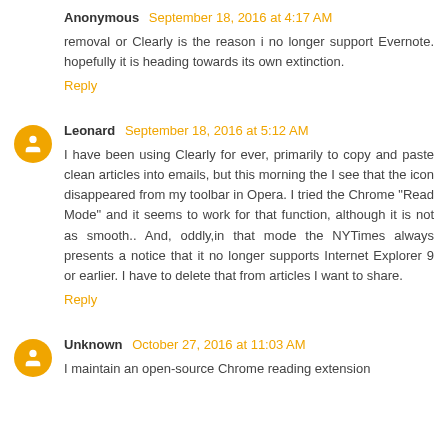Anonymous September 18, 2016 at 4:17 AM
removal or Clearly is the reason i no longer support Evernote. hopefully it is heading towards its own extinction.
Reply
Leonard September 18, 2016 at 5:12 AM
I have been using Clearly for ever, primarily to copy and paste clean articles into emails, but this morning the I see that the icon disappeared from my toolbar in Opera. I tried the Chrome "Read Mode" and it seems to work for that function, although it is not as smooth.. And, oddly,in that mode the NYTimes always presents a notice that it no longer supports Internet Explorer 9 or earlier. I have to delete that from articles I want to share.
Reply
Unknown October 27, 2016 at 11:03 AM
I maintain an open-source Chrome reading extension